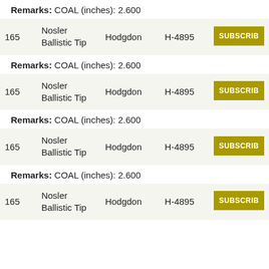Remarks: COAL (inches): 2.600
|  | Bullet | Manufacturer | Powder |  |
| --- | --- | --- | --- | --- |
| 165 | Nosler Ballistic Tip | Hodgdon | H-4895 | SUBSCRIBE |
Remarks: COAL (inches): 2.600
|  | Bullet | Manufacturer | Powder |  |
| --- | --- | --- | --- | --- |
| 165 | Nosler Ballistic Tip | Hodgdon | H-4895 | SUBSCRIBE |
Remarks: COAL (inches): 2.600
|  | Bullet | Manufacturer | Powder |  |
| --- | --- | --- | --- | --- |
| 165 | Nosler Ballistic Tip | Hodgdon | H-4895 | SUBSCRIBE |
Remarks: COAL (inches): 2.600
|  | Bullet | Manufacturer | Powder |  |
| --- | --- | --- | --- | --- |
| 165 | Nosler Ballistic Tip | Hodgdon | H-4895 | SUBSCRIBE |